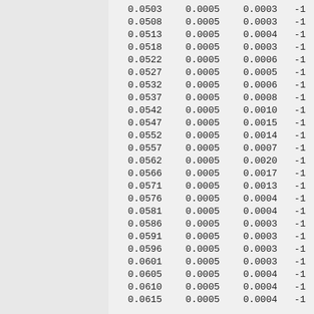| 0.0503 | 0.0005 | 0.0003 | -1 |
| 0.0508 | 0.0005 | 0.0003 | -1 |
| 0.0513 | 0.0005 | 0.0004 | -1 |
| 0.0518 | 0.0005 | 0.0003 | -1 |
| 0.0522 | 0.0005 | 0.0006 | -1 |
| 0.0527 | 0.0005 | 0.0005 | -1 |
| 0.0532 | 0.0005 | 0.0006 | -1 |
| 0.0537 | 0.0005 | 0.0008 | -1 |
| 0.0542 | 0.0005 | 0.0010 | -1 |
| 0.0547 | 0.0005 | 0.0015 | -1 |
| 0.0552 | 0.0005 | 0.0014 | -1 |
| 0.0557 | 0.0005 | 0.0007 | -1 |
| 0.0562 | 0.0005 | 0.0020 | -1 |
| 0.0566 | 0.0005 | 0.0017 | -1 |
| 0.0571 | 0.0005 | 0.0013 | -1 |
| 0.0576 | 0.0005 | 0.0004 | -1 |
| 0.0581 | 0.0005 | 0.0004 | -1 |
| 0.0586 | 0.0005 | 0.0003 | -1 |
| 0.0591 | 0.0005 | 0.0003 | -1 |
| 0.0596 | 0.0005 | 0.0003 | -1 |
| 0.0601 | 0.0005 | 0.0003 | -1 |
| 0.0605 | 0.0005 | 0.0004 | -1 |
| 0.0610 | 0.0005 | 0.0004 | -1 |
| 0.0615 | 0.0005 | 0.0004 | -1 |